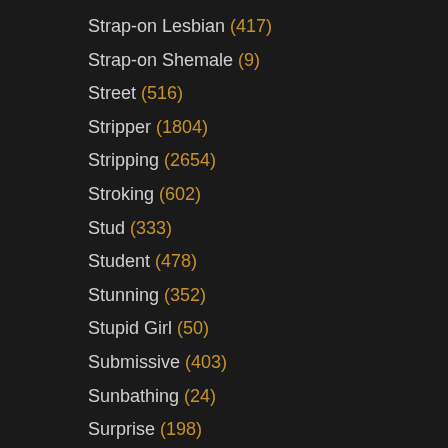Strap-on Lesbian (417)
Strap-on Shemale (9)
Street (516)
Stripper (1804)
Stripping (2654)
Stroking (602)
Stud (333)
Student (478)
Stunning (352)
Stupid Girl (50)
Submissive (403)
Sunbathing (24)
Surprise (198)
Swallowing (3776)
Swallowing Compilation (198)
Swedish (317)